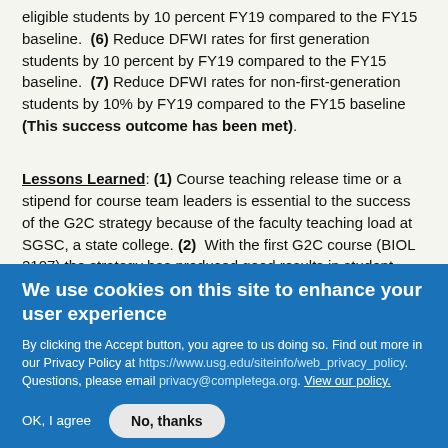eligible students by 10 percent FY19 compared to the FY15 baseline. (6) Reduce DFWI rates for first generation students by 10 percent by FY19 compared to the FY15 baseline. (7) Reduce DFWI rates for non-first-generation students by 10% by FY19 compared to the FY15 baseline (This success outcome has been met).
Lessons Learned: (1) Course teaching release time or a stipend for course team leaders is essential to the success of the G2C strategy because of the faculty teaching load at SGSC, a state college. (2) With the first G2C course (BIOL 2107) the strategy has produced good results in student success progress, as the data
We use cookies on this site to enhance your user experience
By clicking the Accept button, you agree to us doing so. Find out more in our Privacy Policy at https://www.usg.edu/siteinfo/web_privacy_policy. Questions, please email privacy@completega.org. View our policy.